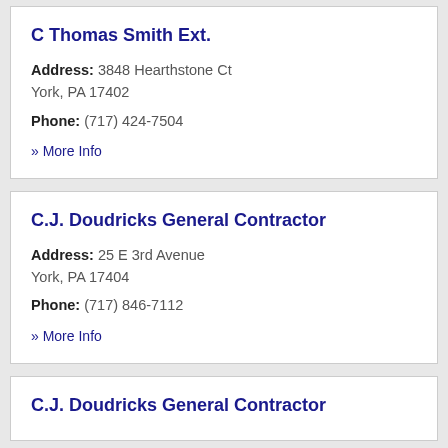C Thomas Smith Ext.
Address: 3848 Hearthstone Ct
York, PA 17402
Phone: (717) 424-7504
» More Info
C.J. Doudricks General Contractor
Address: 25 E 3rd Avenue
York, PA 17404
Phone: (717) 846-7112
» More Info
C.J. Doudricks General Contractor